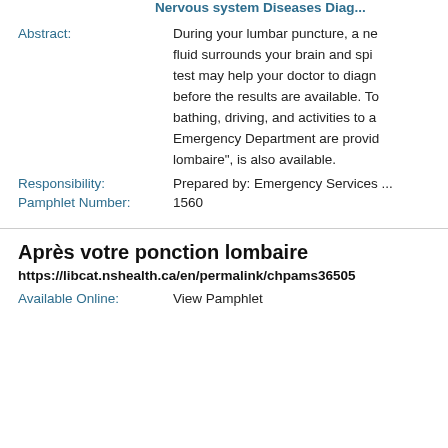Nervous system Diseases Diag...
Abstract: During your lumbar puncture, a ne... fluid surrounds your brain and spi... test may help your doctor to diagn... before the results are available. To... bathing, driving, and activities to a... Emergency Department are provid... lombaire", is also available.
Responsibility: Prepared by: Emergency Services ...
Pamphlet Number: 1560
Après votre ponction lombaire
https://libcat.nshealth.ca/en/permalink/chpams36505
Available Online: View Pamphlet